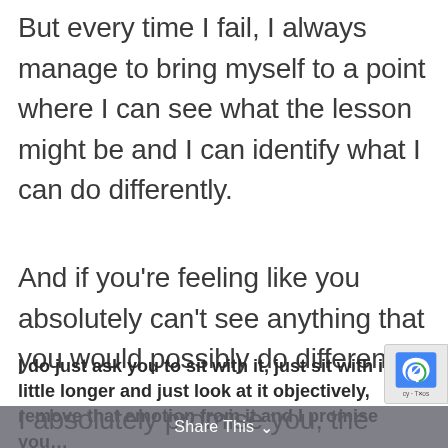But every time I fail, I always manage to bring myself to a point where I can see what the lesson might be and I can identify what I can do differently.
And if you're feeling like you absolutely can't see anything that you would possibly do differently.
I do just ask you to sit with it, just sit with it a little longer and just look at it objectively, remove that emotion from it and I promise you…
I absolutely promise you, the clouds will part and you will see a way forward, you will see something that
Share This